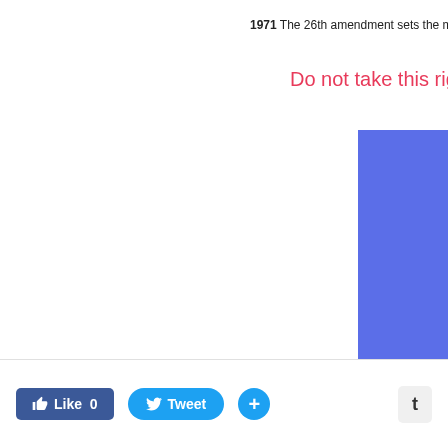1971 The 26th amendment sets the minim...
Do not take this right for...
[Figure (bar-chart): Partial view of a blue bar chart, bar extends from approximately y=130 to y=360 on the right side of the page]